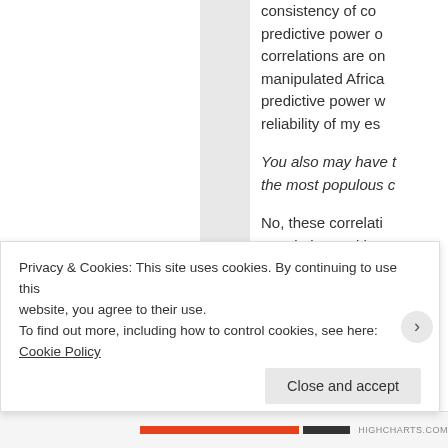consistency of co… predictive power o… correlations are on… manipulated Africa… predictive power w… reliability of my es…
You also may have t… the most populous c…
No, these correlati… population and it re… per capita and othe… regions the same w… there are 50 Africa… way too much weig… fici…
Privacy & Cookies: This site uses cookies. By continuing to use this website, you agree to their use.
To find out more, including how to control cookies, see here: Cookie Policy
Close and accept